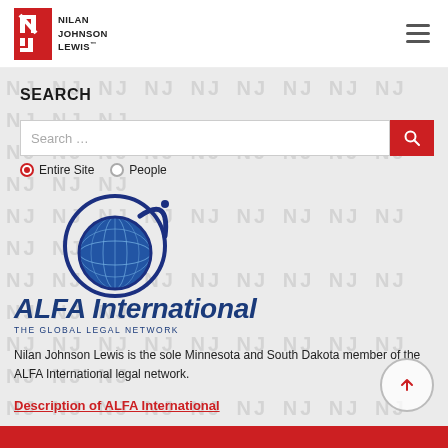[Figure (logo): Nilan Johnson Lewis law firm logo with red NJ icon and firm name text]
SEARCH
Search ...
Entire Site   People
[Figure (logo): ALFA International - The Global Legal Network logo with globe graphic]
Nilan Johnson Lewis is the sole Minnesota and South Dakota member of the ALFA International legal network.
Description of ALFA International